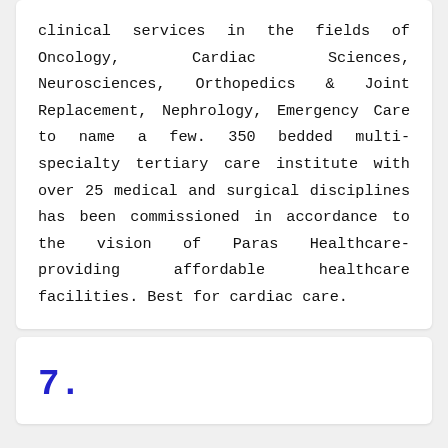clinical services in the fields of Oncology, Cardiac Sciences, Neurosciences, Orthopedics & Joint Replacement, Nephrology, Emergency Care to name a few. 350 bedded multi-specialty tertiary care institute with over 25 medical and surgical disciplines has been commissioned in accordance to the vision of Paras Healthcare- providing affordable healthcare facilities. Best for cardiac care.
7.